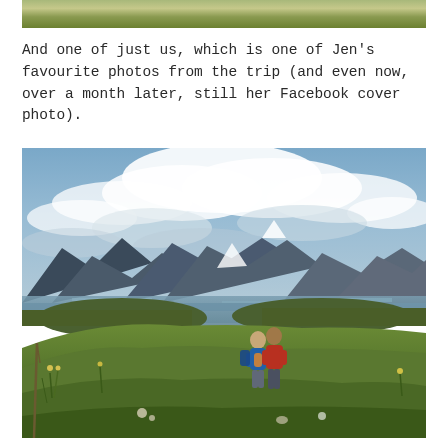[Figure (photo): Partial top strip of a nature/forest photo showing green grass and yellow wildflowers]
And one of just us, which is one of Jen’s favourite photos from the trip (and even now, over a month later, still her Facebook cover photo).
[Figure (photo): A couple standing on a grassy hillside overlooking a large lake with mountains and dramatic cloudy sky in the background. One person wears a blue jacket, the other a red jacket, and they have their arms around each other.]